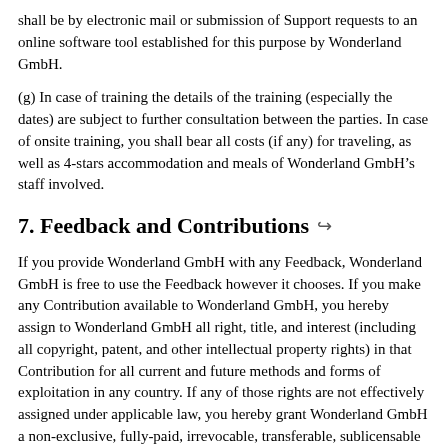shall be by electronic mail or submission of Support requests to an online software tool established for this purpose by Wonderland GmbH.
(g) In case of training the details of the training (especially the dates) are subject to further consultation between the parties. In case of onsite training, you shall bear all costs (if any) for traveling, as well as 4-stars accommodation and meals of Wonderland GmbH’s staff involved.
7. Feedback and Contributions
If you provide Wonderland GmbH with any Feedback, Wonderland GmbH is free to use the Feedback however it chooses. If you make any Contribution available to Wonderland GmbH, you hereby assign to Wonderland GmbH all right, title, and interest (including all copyright, patent, and other intellectual property rights) in that Contribution for all current and future methods and forms of exploitation in any country. If any of those rights are not effectively assigned under applicable law, you hereby grant Wonderland GmbH a non-exclusive, fully-paid, irrevocable, transferable, sublicensable license to reproduce, distribute, publicly perform, publicly display, make, use, have made, sell, offer to sell, import, modify and make derivative works based on, and otherwise